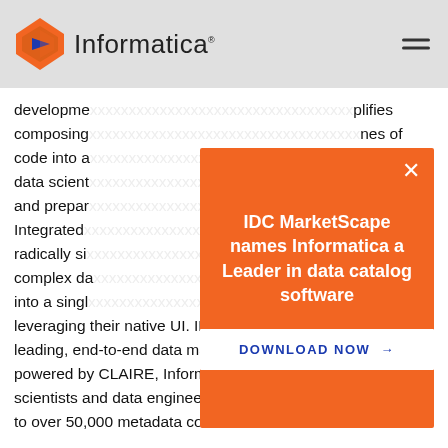Informatica
development… simplifies composing… lines of code into a… bility of data scientists… transform, and prepar… n Integrated… Core radically si… ce of complex da… es of code into a singl… plications leveraging their native UI. INFACore brings IDMC's industry-leading, end-to-end data management platform capabilities powered by CLAIRE, Informatica's AI engine, natively to data scientists and data engineers, enabling them with access to over 50,000 metadata connections.
[Figure (infographic): Orange modal popup overlay with white X close button, title 'IDC MarketScape names Informatica a Leader in data catalog software', and a white DOWNLOAD NOW button with arrow.]
Operationalize ML Models Developed in Any Data Science